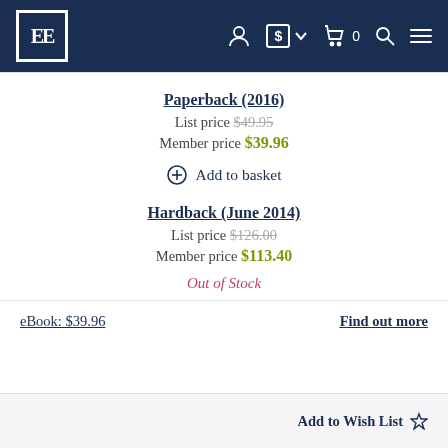EE navigation header with logo, currency selector, cart (0), search, and menu
Paperback (2016)
List price $49.95
Member price $39.96
⊕ Add to basket
Hardback (June 2014)
List price $126.00
Member price $113.40
Out of Stock
eBook: $39.96
Find out more
Add to Wish List ☆